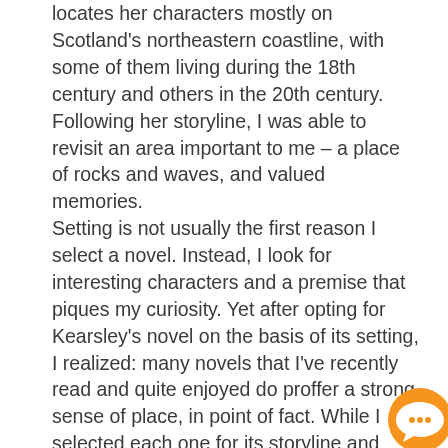locates her characters mostly on Scotland's northeastern coastline, with some of them living during the 18th century and others in the 20th century. Following her storyline, I was able to revisit an area important to me – a place of rocks and waves, and valued memories.
Setting is not usually the first reason I select a novel. Instead, I look for interesting characters and a premise that piques my curiosity. Yet after opting for Kearsley's novel on the basis of its setting, I realized: many novels that I've recently read and quite enjoyed do proffer a strong sense of place, in point of fact. While I selected each one for its storyline and characters, these works ended up taking me to a number of fascinating places. Ultimately, these novels were inadvertent travel books. Each one allowed me to learn about a distinct place and encouraged me to travel there, at least in my mind. These are works that foster travel via story, rathe
[Figure (illustration): Orange circular chat bubble icon in the bottom-right corner of the page]